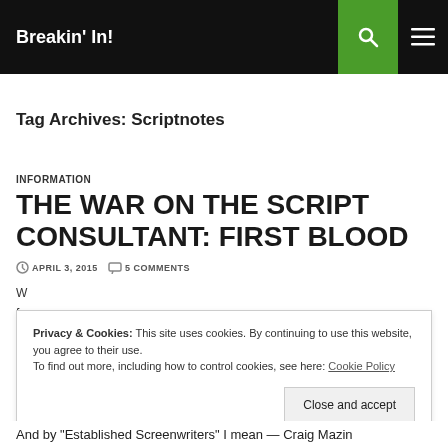Breakin' In!
Tag Archives: Scriptnotes
INFORMATION
THE WAR ON THE SCRIPT CONSULTANT: FIRST BLOOD
APRIL 3, 2015  5 COMMENTS
Privacy & Cookies: This site uses cookies. By continuing to use this website, you agree to their use.
To find out more, including how to control cookies, see here: Cookie Policy
Close and accept
And by "Established Screenwriters" I mean — Craig Mazin